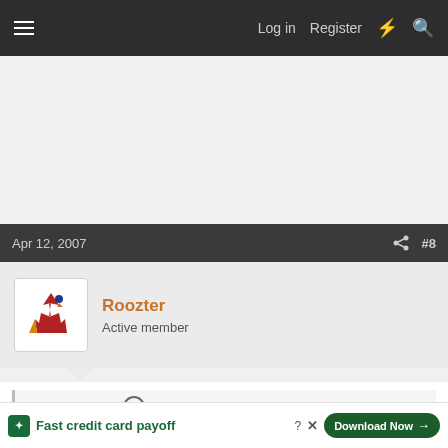≡  Log in  Register  ⚡  🔍
[Figure (other): Advertisement placeholder area (blank gray)]
Apr 12, 2007  #8
Roozter
Active member
skidsteer.ca said: ⊕

IF... the belt broke running the engine won't hurt it becasue the pumps not turning. To check the belt take the plastic cover off on the flywheel end of the engine (held on with little metal spring clips on the Kubota powered ... ed belt or a be ... 1. The be ... will
[Figure (other): Tally advertisement banner: Fast credit card payoff — Download Now button]